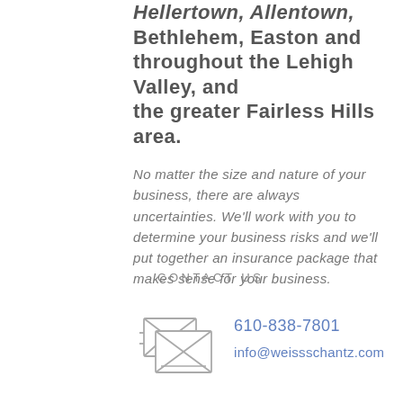Hellertown, Allentown, Bethlehem, Easton and throughout the Lehigh Valley, and the greater Fairless Hills area.
No matter the size and nature of your business, there are always uncertainties. We'll work with you to determine your business risks and we'll put together an insurance package that makes sense for your business.
CONTACT US
610-838-7801
info@weissschantz.com